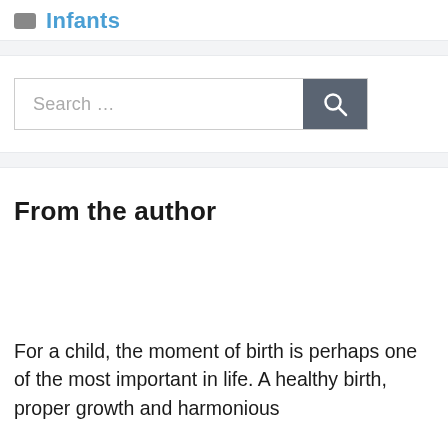Infants
[Figure (other): Search bar with text input field showing placeholder 'Search …' and a dark grey search button with magnifying glass icon]
From the author
For a child, the moment of birth is perhaps one of the most important in life. A healthy birth, proper growth and harmonious